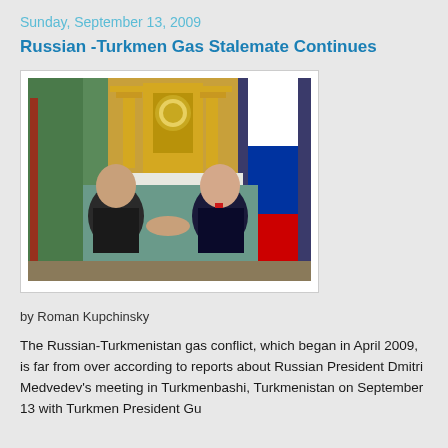Sunday, September 13, 2009
Russian -Turkmen Gas Stalemate Continues
[Figure (photo): Two men in business suits shaking hands in an ornate room with gold decor, Turkmenistan and Russian flags visible in background]
by Roman Kupchinsky
The Russian-Turkmenistan gas conflict, which began in April 2009, is far from over according to reports about Russian President Dmitri Medvedev's meeting in Turkmenbashi, Turkmenistan on September 13 with Turkmen President Gurbanguly Berdymukhamedov.